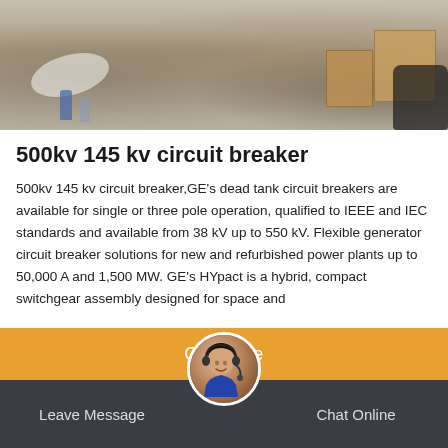[Figure (photo): Outdoor scene showing boxes, debris, and bags on a tiled floor]
500kv 145 kv circuit breaker
500kv 145 kv circuit breaker,GE’s dead tank circuit breakers are available for single or three pole operation, qualified to IEEE and IEC standards and available from 38 kV up to 550 kV. Flexible generator circuit breaker solutions for new and refurbished power plants up to 50,000 A and 1,500 MW. GE’s HYpact is a hybrid, compact switchgear assembly designed for space and
Get Price
Leave Message
Chat Online